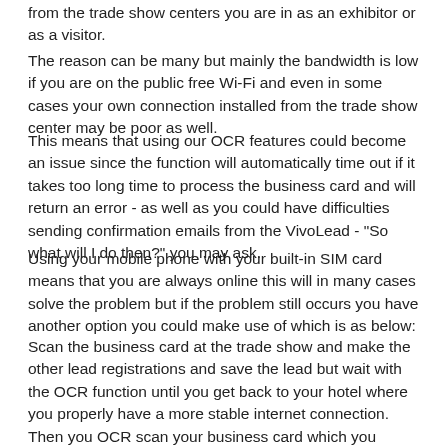from the trade show centers you are in as an exhibitor or as a visitor.
The reason can be many but mainly the bandwidth is low if you are on the public free Wi-Fi and even in some cases your own connection installed from the trade show center may be poor as well.
This means that using our OCR features could become an issue since the function will automatically time out if it takes too long time to process the business card and will return an error - as well as you could have difficulties sending confirmation emails from the VivoLead - "So what will I do then?" you may ask.
Using your mobile phone with your built-in SIM card means that you are always online this will in many cases solve the problem but if the problem still occurs you have another option you could make use of which is as below:
Scan the business card at the trade show and make the other lead registrations and save the lead but wait with the OCR function until you get back to your hotel where you properly have a more stable internet connection. Then you OCR scan your business card which you already have made photos of and then also here send the confirmation mail to the clients you meet the same day.